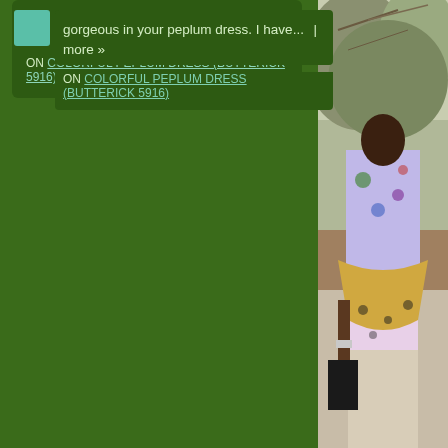gorgeous in your peplum dress. I have...  more »
ON COLORFUL PEPLUM DRESS (BUTTERICK 5916)
[Figure (photo): A person wearing a colorful peplum dress standing on a sidewalk outdoors, with trees/shrubs in the background. The image is cropped and shows the right side of the page.]